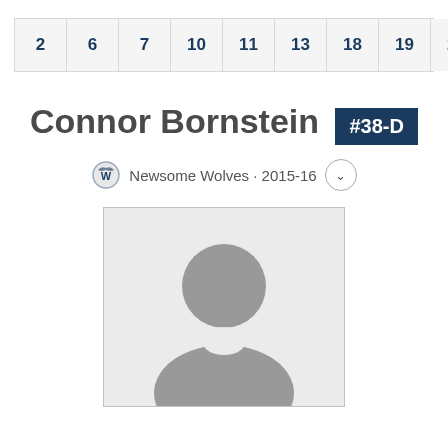2 6 7 10 11 13 18 19 21 22 23 25
Connor Bornstein #38-D
Newsome Wolves · 2015-16
[Figure (photo): Placeholder silhouette photo of a person in a light gray portrait box]